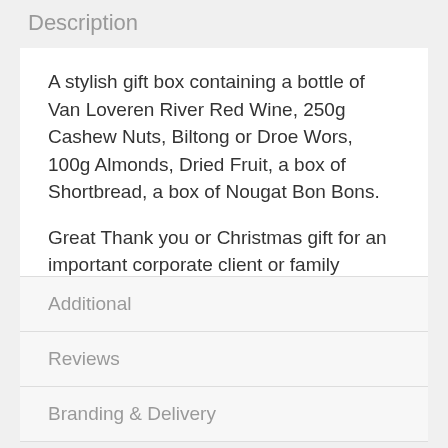Description
A stylish gift box containing a bottle of Van Loveren River Red Wine, 250g Cashew Nuts, Biltong or Droe Wors, 100g Almonds, Dried Fruit, a box of Shortbread, a box of Nougat Bon Bons.
Great Thank you or Christmas gift for an important corporate client or family member.
Contents delivered in sealed packets to ensure freshness.
Additional
Reviews
Branding & Delivery